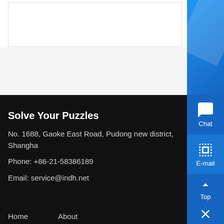[Figure (screenshot): White content area with a bordered box at top, part of a webpage layout]
[Figure (screenshot): Blue right sidebar with Chat icon, E-mail icon, Top button, and close X button]
Solve Your Puzzles
No. 1688, Gaoke East Road, Pudong new district, Shanghai
Phone: +86-21-58386189
Email: service@indh.net
Home    About